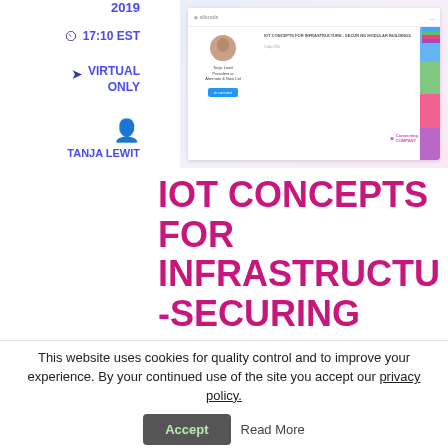2019
17:10 EST
VIRTUAL ONLY
TANJA LEWIT
[Figure (screenshot): Screenshot of a slide or website showing 'IOT CONCEPTS FOR INFRASTRUCTURE - SECURING MODULAR BUILDINGS' with a speaker profile and colorful design elements]
IOT CONCEPTS FOR INFRASTRUCTURE -SECURING
This website uses cookies for quality control and to improve your experience. By your continued use of the site you accept our privacy policy.
Accept
Read More